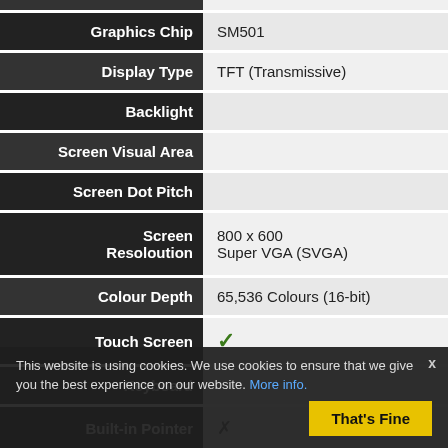| Specification | Value |
| --- | --- |
| Graphics Chip | SM501 |
| Display Type | TFT (Transmissive) |
| Backlight |  |
| Screen Visual Area |  |
| Screen Dot Pitch |  |
| Screen Resoloution | 800 x 600 Super VGA (SVGA) |
| Colour Depth | 65,536 Colours (16-bit) |
| Touch Screen | ✓ |
| Keyboard |  |
| Built-in Pointer | ✗ |
| External Mouse | ✗ |
| Other Input | ✗ |
This website is using cookies. We use cookies to ensure that we give you the best experience on our website. More info. That's Fine